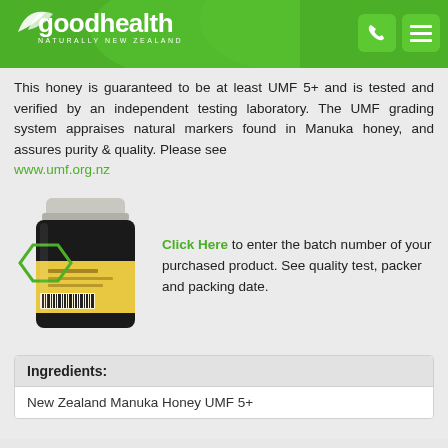goodhealth NATURALLY NEW ZEALAND
This honey is guaranteed to be at least UMF 5+ and is tested and verified by an independent testing laboratory. The UMF grading system appraises natural markers found in Manuka honey, and assures purity & quality. Please see www.umf.org.nz
[Figure (photo): A jar of Good Health Manuka Honey UMF 5+ with a hexagonal batch number label highlighted on the side of the jar]
Click Here to enter the batch number of your purchased product. See quality test, packer and packing date.
| Ingredients: |
| --- |
| New Zealand Manuka Honey UMF 5+ |